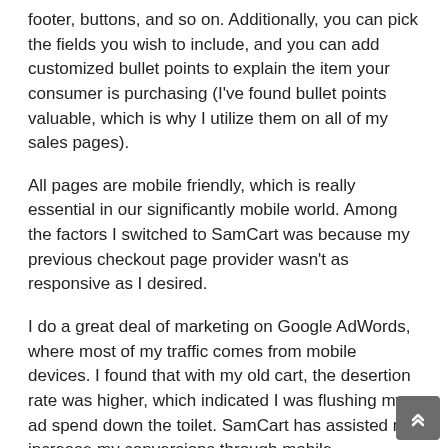footer, buttons, and so on. Additionally, you can pick the fields you wish to include, and you can add customized bullet points to explain the item your consumer is purchasing (I've found bullet points valuable, which is why I utilize them on all of my sales pages).
All pages are mobile friendly, which is really essential in our significantly mobile world. Among the factors I switched to SamCart was because my previous checkout page provider wasn't as responsive as I desired.
I do a great deal of marketing on Google AdWords, where most of my traffic comes from mobile devices. I found that with my old cart, the desertion rate was higher, which indicated I was flushing my ad spend down the toilet. SamCart has assisted me increase my conversions through mobile.